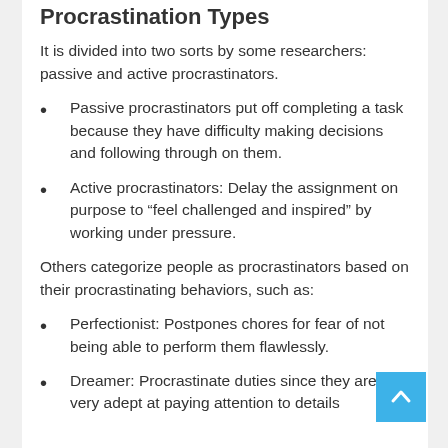Procrastination Types
It is divided into two sorts by some researchers: passive and active procrastinators.
Passive procrastinators put off completing a task because they have difficulty making decisions and following through on them.
Active procrastinators: Delay the assignment on purpose to “feel challenged and inspired” by working under pressure.
Others categorize people as procrastinators based on their procrastinating behaviors, such as:
Perfectionist: Postpones chores for fear of not being able to perform them flawlessly.
Dreamer: Procrastinate duties since they aren’t very adept at paying attention to details